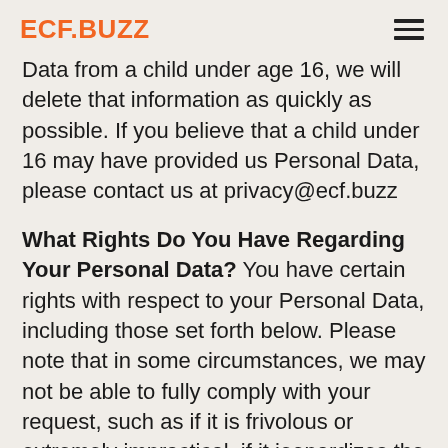ECF.BUZZ
Data from a child under age 16, we will delete that information as quickly as possible. If you believe that a child under 16 may have provided us Personal Data, please contact us at privacy@ecf.buzz
What Rights Do You Have Regarding Your Personal Data? You have certain rights with respect to your Personal Data, including those set forth below. Please note that in some circumstances, we may not be able to fully comply with your request, such as if it is frivolous or extremely impractical, if it jeopardizes the